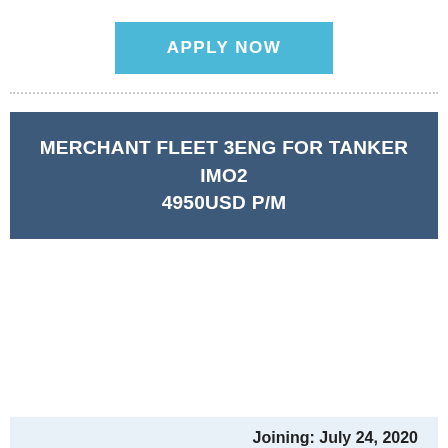APPLY NOW
MERCHANT FLEET 3ENG FOR TANKER IMO2 4950USD P/M
Joining: July 24, 2020
3 Engineer for tanker with experience in 3E rank minimum 18 months in rank